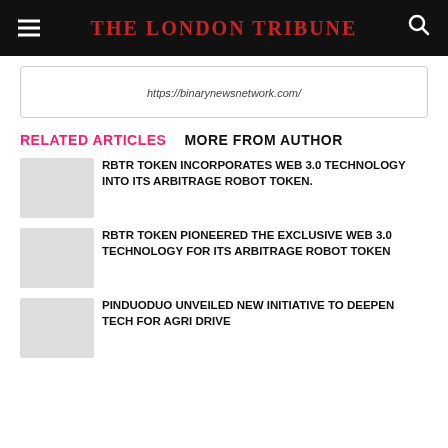The London Tribune
https://binarynewsnetwork.com/
RELATED ARTICLES
MORE FROM AUTHOR
RBTR TOKEN INCORPORATES WEB 3.0 TECHNOLOGY INTO ITS ARBITRAGE ROBOT TOKEN.
RBTR TOKEN PIONEERED THE EXCLUSIVE WEB 3.0 TECHNOLOGY FOR ITS ARBITRAGE ROBOT TOKEN
PINDUODUO UNVEILED NEW INITIATIVE TO DEEPEN TECH FOR AGRI DRIVE